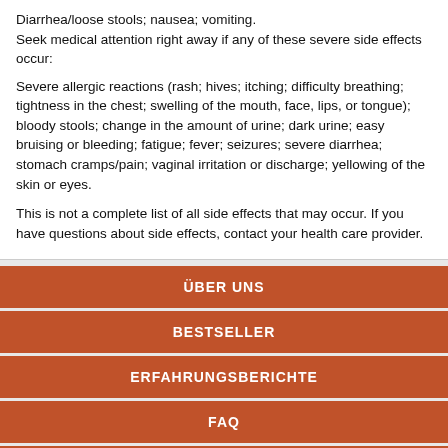Diarrhea/loose stools; nausea; vomiting.
Seek medical attention right away if any of these severe side effects occur:
Severe allergic reactions (rash; hives; itching; difficulty breathing; tightness in the chest; swelling of the mouth, face, lips, or tongue); bloody stools; change in the amount of urine; dark urine; easy bruising or bleeding; fatigue; fever; seizures; severe diarrhea; stomach cramps/pain; vaginal irritation or discharge; yellowing of the skin or eyes.
This is not a complete list of all side effects that may occur. If you have questions about side effects, contact your health care provider.
ÜBER UNS
BESTSELLER
ERFAHRUNGSBERICHTE
FAQ
UNSERE POLITIK
KONTAKT